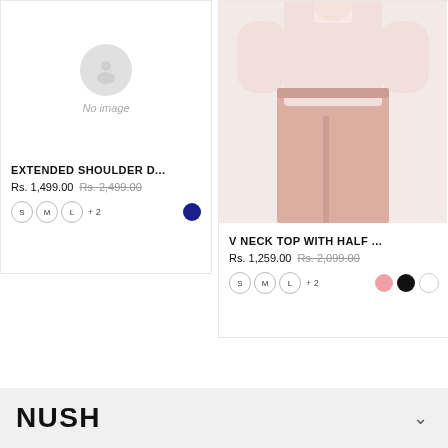[Figure (photo): Product card with no image placeholder (grey circle icon, 'No image' text) for Extended Shoulder dress]
EXTENDED SHOULDER D...
Rs. 1,499.00 Rs. 2,499.00
S M L + 2
[Figure (photo): Woman wearing a light pink V-neck top with half sleeves and pink wide-leg trousers, product photo on white background]
V NECK TOP WITH HALF ...
Rs. 1,259.00 Rs. 2,099.00
S M L + 2
[Figure (logo): NUSH brand logo in bold black text on light grey footer bar]